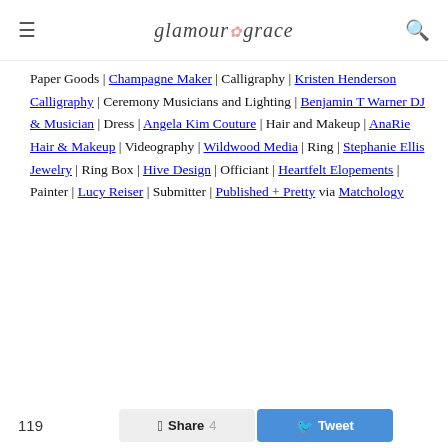glamour & grace
Paper Goods | Champagne Maker | Calligraphy | Kristen Henderson Calligraphy | Ceremony Musicians and Lighting | Benjamin T Warner DJ & Musician | Dress | Angela Kim Couture | Hair and Makeup | AnaRie Hair & Makeup | Videography | Wildwood Media | Ring | Stephanie Ellis Jewelry | Ring Box | Hive Design | Officiant | Heartfelt Elopements | Painter | Lucy Reiser | Submitter | Published + Pretty via Matchology
119  Share 4  Tweet